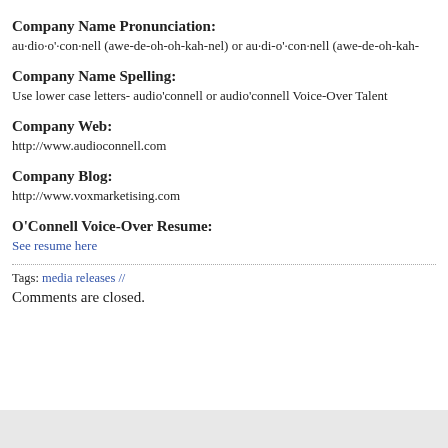Company Name Pronunciation:
au·dio·o'·con·nell (awe-de-oh-oh-kah-nel) or au·di-o'·con·nell (awe-de-oh-kah-
Company Name Spelling:
Use lower case letters- audio'connell or audio'connell Voice-Over Talent
Company Web:
http://www.audioconnell.com
Company Blog:
http://www.voxmarketising.com
O'Connell Voice-Over Resume:
See resume here
Tags: media releases //
Comments are closed.